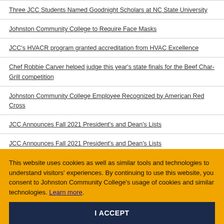Three JCC Students Named Goodnight Scholars at NC State University
Johnston Community College to Require Face Masks
JCC's HVACR program granted accreditation from HVAC Excellence
Chef Robbie Carver helped judge this year's state finals for the Beef Char-Grill competition
Johnston Community College Employee Recognized by American Red Cross
JCC Announces Fall 2021 President's and Dean's Lists
JCC Announces Fall 2021 President's and Dean's Lists
JCC Expands Degree Programs for JCPS Innovative High Schools
Public notice of upcoming accreditation review visit by the ACEN
This website uses cookies as well as similar tools and technologies to understand visitors' experiences. By continuing to use this website, you consent to Johnston Community College's usage of cookies and similar technologies. Learn more.